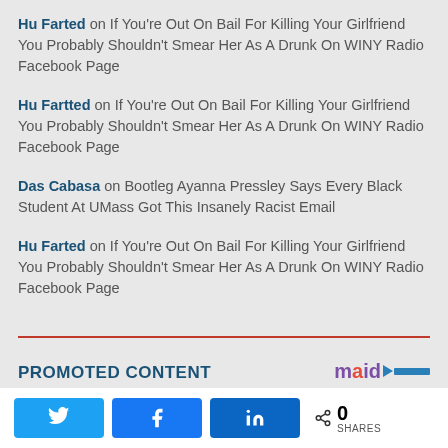Hu Farted on If You're Out On Bail For Killing Your Girlfriend You Probably Shouldn't Smear Her As A Drunk On WINY Radio Facebook Page
Hu Fartted on If You're Out On Bail For Killing Your Girlfriend You Probably Shouldn't Smear Her As A Drunk On WINY Radio Facebook Page
Das Cabasa on Bootleg Ayanna Pressley Says Every Black Student At UMass Got This Insanely Racist Email
Hu Farted on If You're Out On Bail For Killing Your Girlfriend You Probably Shouldn't Smear Her As A Drunk On WINY Radio Facebook Page
PROMOTED CONTENT
Twitter share | Facebook share | LinkedIn share | 0 SHARES